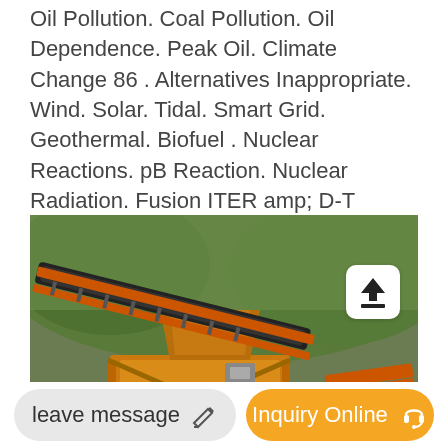Oil Pollution. Coal Pollution. Oil Dependence. Peak Oil. Climate Change 86 . Alternatives Inappropriate. Wind. Solar. Tidal. Smart Grid. Geothermal. Biofuel . Nuclear Reactions. pB Reaction. Nuclear Radiation. Fusion ITER amp; D-T Research Neutron Fission Power Reactor. Freq Objections and Replies. Is Nuclear Dangerous The Polywell Reactor .
[Figure (photo): Industrial mining or quarrying equipment — an orange and yellow conveyor/crusher machine with large red wheels, set against a hillside with green vegetation in the background.]